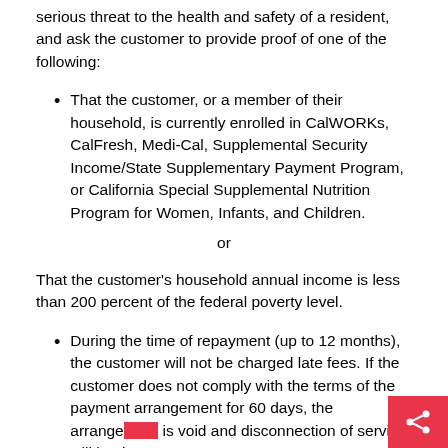serious threat to the health and safety of a resident, and ask the customer to provide proof of one of the following:
That the customer, or a member of their household, is currently enrolled in CalWORKs, CalFresh, Medi-Cal, Supplemental Security Income/State Supplementary Payment Program, or California Special Supplemental Nutrition Program for Women, Infants, and Children.
or
That the customer's household annual income is less than 200 percent of the federal poverty level.
During the time of repayment (up to 12 months), the customer will not be charged late fees. If the customer does not comply with the terms of the payment arrangement for 60 days, the arrangement is void and disconnection of service will begin.